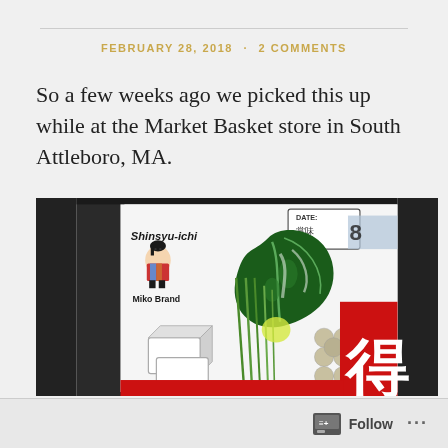FEBRUARY 28, 2018 · 2 COMMENTS
So a few weeks ago we picked this up while at the Market Basket store in South Attleboro, MA.
[Figure (photo): Close-up photo of a Shinsyu-ichi Miko Brand miso soup package showing Japanese text, green vegetable illustrations, tofu block illustrations, a date label sticker, and red/white Japanese character '得' on packaging.]
Follow ...